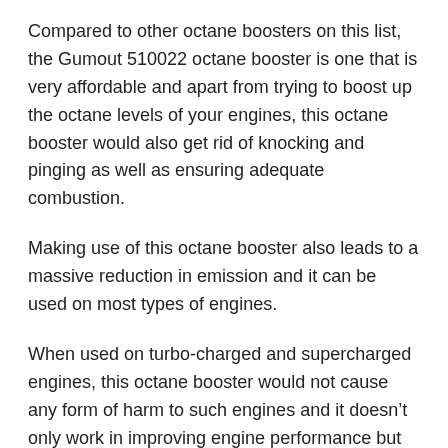Compared to other octane boosters on this list, the Gumout 510022 octane booster is one that is very affordable and apart from trying to boost up the octane levels of your engines, this octane booster would also get rid of knocking and pinging as well as ensuring adequate combustion.
Making use of this octane booster also leads to a massive reduction in emission and it can be used on most types of engines.
When used on turbo-charged and supercharged engines, this octane booster would not cause any form of harm to such engines and it doesn’t only work in improving engine performance but also solving some common issues engines encounter.
Pros: